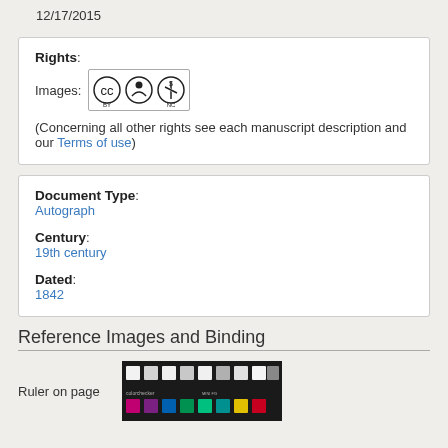12/17/2015
Rights:
Images: [CC BY-NC license]
(Concerning all other rights see each manuscript description and our Terms of use)
Document Type:
Autograph

Century:
19th century

Dated:
1842
Reference Images and Binding
Ruler on page
[Figure (photo): Color checker card showing grayscale and color swatches (colorchecker mini)]